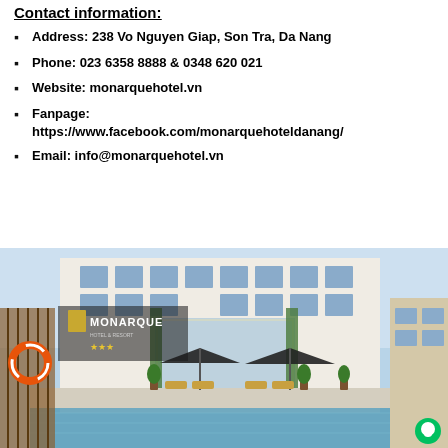Contact information:
Address: 238 Vo Nguyen Giap, Son Tra, Da Nang
Phone: 023 6358 8888 & 0348 620 021
Website: monarquehotel.vn
Fanpage: https://www.facebook.com/monarquehoteldanang/
Email: info@monarquehotel.vn
[Figure (photo): Exterior and pool area of Monarque Hotel Da Nang, showing the white building facade, outdoor pool with lounge chairs and black umbrellas, tropical plants, and the Monarque hotel logo/signage.]